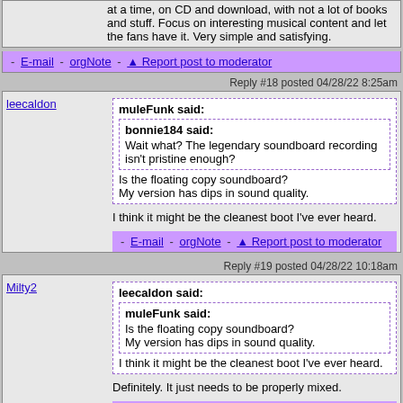at a time, on CD and download, with not a lot of books and stuff. Focus on interesting musical content and let the fans have it. Very simple and satisfying.
- E-mail - orgNote - Report post to moderator
Reply #18 posted 04/28/22 8:25am
leecaldon
muleFunk said: bonnie184 said: Wait what? The legendary soundboard recording isn't pristine enough? Is the floating copy soundboard? My version has dips in sound quality. I think it might be the cleanest boot I've ever heard.
- E-mail - orgNote - Report post to moderator
Reply #19 posted 04/28/22 10:18am
Milty2
leecaldon said: muleFunk said: Is the floating copy soundboard? My version has dips in sound quality. I think it might be the cleanest boot I've ever heard. Definitely. It just needs to be properly mixed.
- E-mail - orgNote - Report post to moderator
Reply #20 posted 04/30/22 10:19am
GustavoRibas
funkbabyandthebabysitters said: There should be a prince version of the dagger label the Hendrix estate have for bootleg shows I dont think the